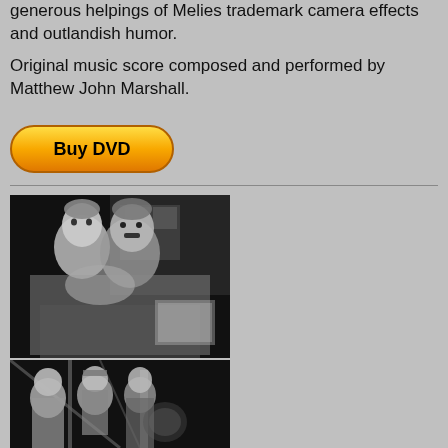generous helpings of Melies trademark camera effects and outlandish humor.
Original music score composed and performed by Matthew John Marshall.
[Figure (other): Buy DVD button - yellow/orange oval button with text 'Buy DVD']
[Figure (photo): Black and white still photo of a child and a man with a mustache (Chaplin-like figure) embracing]
[Figure (photo): Black and white photo of two women and a man near what appears to be a tent or outdoor structure]